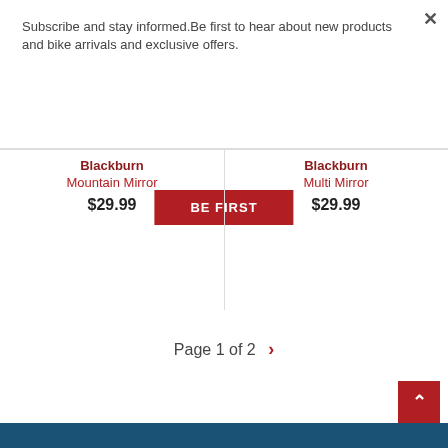×
Subscribe and stay informed.Be first to hear about new products and bike arrivals and exclusive offers.
BE FIRST
Blackburn
Mountain Mirror
$29.99
Blackburn
Multi Mirror
$29.99
Page 1 of 2  >